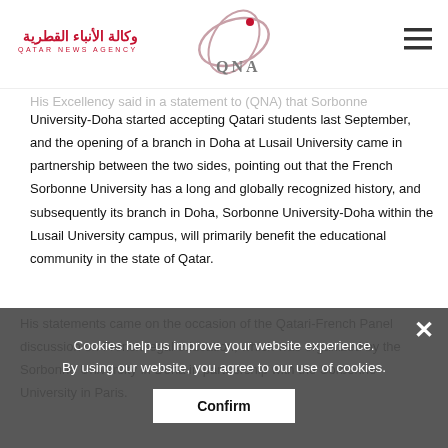Qatar News Agency (QNA) - Logo header
His Excellency said in a statement to (QNA) that Sorbonne University-Doha started accepting Qatari students last September, and the opening of a branch in Doha at Lusail University came in partnership between the two sides, pointing out that the French Sorbonne University has a long and globally recognized history, and subsequently its branch in Doha, Sorbonne University-Doha within the Lusail University campus, will primarily benefit the educational community in the state of Qatar.
His statements came on the occasion of the Qatari-French Panel discussion on French legal education, which was organized by the Sorbonne University in Doha in partnership with the Sorbonne University in Paris.
Cookies help us improve your website experience. By using our website, you agree to our use of cookies.